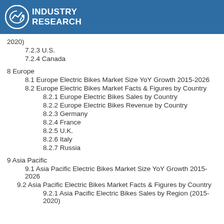Industry Research
2020)
7.2.3 U.S.
7.2.4 Canada
8 Europe
8.1 Europe Electric Bikes Market Size YoY Growth 2015-2026
8.2 Europe Electric Bikes Market Facts & Figures by Country
8.2.1 Europe Electric Bikes Sales by Country
8.2.2 Europe Electric Bikes Revenue by Country
8.2.3 Germany
8.2.4 France
8.2.5 U.K.
8.2.6 Italy
8.2.7 Russia
9 Asia Pacific
9.1 Asia Pacific Electric Bikes Market Size YoY Growth 2015-2026
9.2 Asia Pacific Electric Bikes Market Facts & Figures by Country
9.2.1 Asia Pacific Electric Bikes Sales by Region (2015-2020)